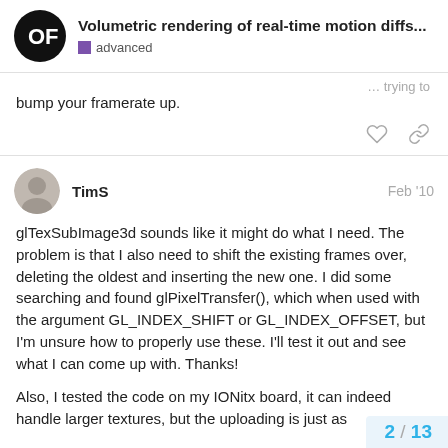Volumetric rendering of real-time motion diffs... | advanced
bump your framerate up.
TimS
Feb '10
glTexSubImage3d sounds like it might do what I need. The problem is that I also need to shift the existing frames over, deleting the oldest and inserting the new one. I did some searching and found glPixelTransfer(), which when used with the argument GL_INDEX_SHIFT or GL_INDEX_OFFSET, but I'm unsure how to properly use these. I'll test it out and see what I can come up with. Thanks!
Also, I tested the code on my IONitx board, it can indeed handle larger textures, but the uploading is just as
2 / 13